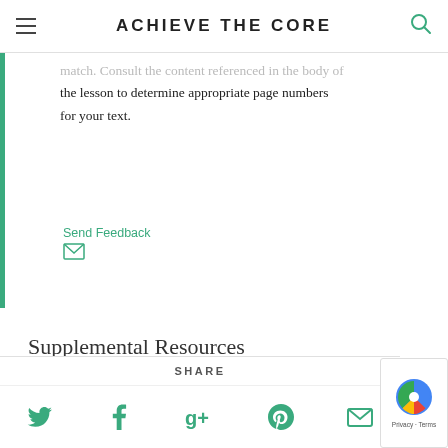ACHIEVE THE CORE
match. Consult the content referenced in the body of the lesson to determine appropriate page numbers for your text.
Send Feedback
Supplemental Resources
[Figure (other): Light green/teal rectangular box placeholder for supplemental resources content]
SHARE
[Figure (other): Social sharing icons: Twitter, Facebook, Google+, Pinterest, Email — all in green. reCAPTCHA badge with Privacy and Terms links in bottom right.]